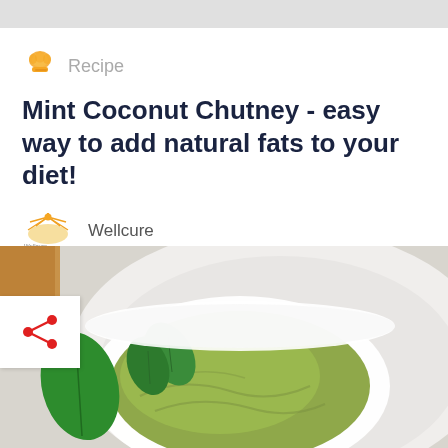Recipe
Mint Coconut Chutney - easy way to add natural fats to your diet!
Wellcure
10:19 AM | 26-06-2019
[Figure (photo): A white bowl filled with green mint coconut chutney garnished with fresh mint leaves, alongside what appears to be a fried snack on the right side]